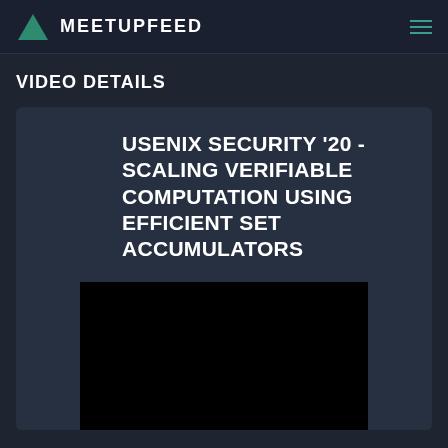MEETUPFEED
VIDEO DETAILS
USENIX SECURITY '20 - SCALING VERIFIABLE COMPUTATION USING EFFICIENT SET ACCUMULATORS
[Figure (screenshot): Black video player thumbnail area]